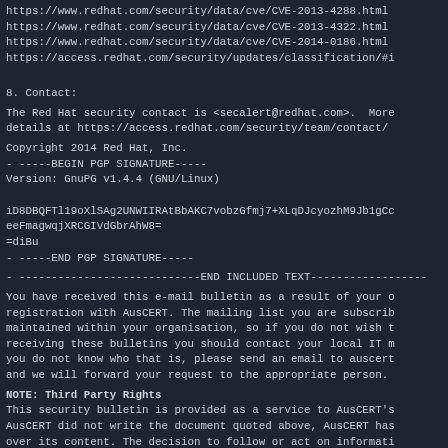https://www.redhat.com/security/data/cve/CVE-2013-4288.html
https://www.redhat.com/security/data/cve/CVE-2013-4322.html
https://www.redhat.com/security/data/cve/CVE-2014-0186.html
https://access.redhat.com/security/updates/classification/#i
8. Contact:
The Red Hat security contact is <secalert@redhat.com>.  More
details at https://access.redhat.com/security/team/contact/
Copyright 2014 Red Hat, Inc.
- -----BEGIN PGP SIGNATURE-----
Version: GnuPG v1.4.4 (GNU/Linux)

iD8DBQFTl19oXlSAg2UNWIIRAtBbAKC7vobzGfmj7+XLqDJcyozhM9Jb1gCc
eeFmagwqjXRCGIVdGbrAhW8=
=diBu
- -----END PGP SIGNATURE-----
- ----------------------------END INCLUDED TEXT------------------
You have received this e-mail bulletin as a result of your o
registration with AusCERT. The mailing list you are subscrib
maintained within your organisation, so if you do not wish t
receiving these bulletins you should contact your local IT m
you do not know who that is, please send an email to auscert
and we will forward your request to the appropriate person.
NOTE: Third Party Rights
This security bulletin is provided as a service to AusCERT's
AusCERT did not write the document quoted above, AusCERT has
over its content. The decision to follow or act on informati
contained in this security bulletin is the responsibility o